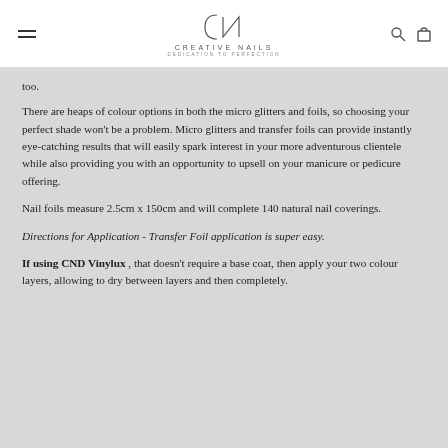CREATIVE NAILS
too.
There are heaps of colour options in both the micro glitters and foils, so choosing your perfect shade won't be a problem. Micro glitters and transfer foils can provide instantly eye-catching results that will easily spark interest in your more adventurous clientele while also providing you with an opportunity to upsell on your manicure or pedicure offering.
Nail foils measure 2.5cm x 150cm and will complete 140 natural nail coverings.
Directions for Application - Transfer Foil application is super easy.
If using CND Vinylux , that doesn't require a base coat, then apply your two colour layers, allowing to dry between layers and then completely.